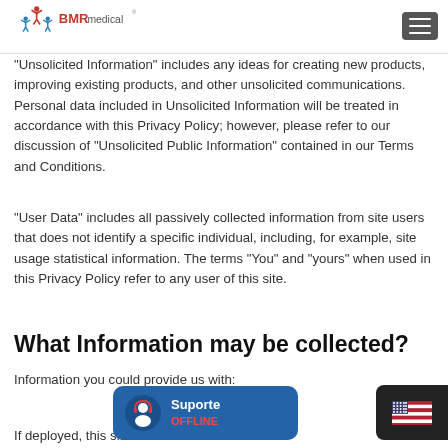BMR Medical
“Unsolicited Information” includes any ideas for creating new products, improving existing products, and other unsolicited communications. Personal data included in Unsolicited Information will be treated in accordance with this Privacy Policy; however, please refer to our discussion of “Unsolicited Public Information” contained in our Terms and Conditions.
“User Data” includes all passively collected information from site users that does not identify a specific individual, including, for example, site usage statistical information. The terms “You” and “yours” when used in this Privacy Policy refer to any user of this site.
What Information may be collected?
Information you could provide us with:
If deployed, this site m... al data such